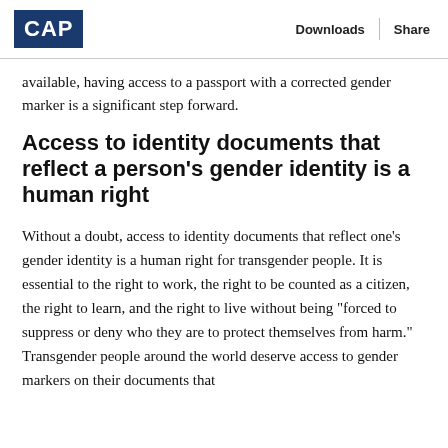CAP   Downloads   Share
available, having access to a passport with a corrected gender marker is a significant step forward.
Access to identity documents that reflect a person’s gender identity is a human right
Without a doubt, access to identity documents that reflect one’s gender identity is a human right for transgender people. It is essential to the right to work, the right to be counted as a citizen, the right to learn, and the right to live without being “forced to suppress or deny who they are to protect themselves from harm.” Transgender people around the world deserve access to gender markers on their documents that